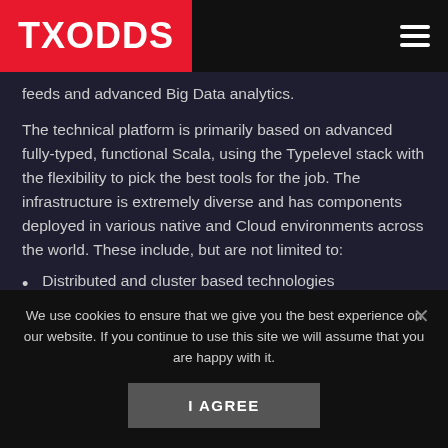TXODDS
feeds and advanced Big Data analytics.
The technical platform is primarily based on advanced fully-typed, functional Scala, using the Typelevel stack with the flexibility to pick the best tools for the job. The infrastructure is extremely diverse and has components deployed in various native and Cloud environments across the world. These include, but are not limited to:
Distributed and cluster based technologies
AWS
Kubernetes (partially cut off)
We use cookies to ensure that we give you the best experience on our website. If you continue to use this site we will assume that you are happy with it.
I AGREE